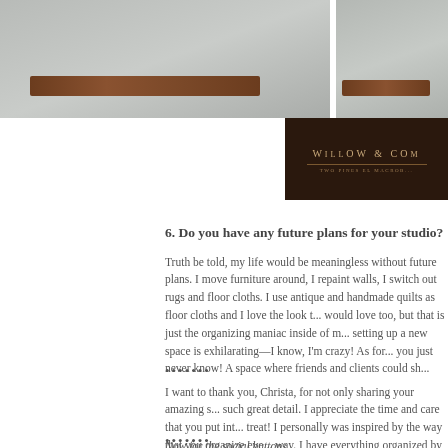[Figure (photo): Top portion showing two felt/fabric products with brown leather/suede trim details, and a partial dark leather label reading 'Willow & Co' with additional text below]
6. Do you have any future plans for your studio?
Truth be told, my life would be meaningless without future plans. I move furniture around, I repaint walls, I switch out rugs and floor cloths. I use antique and handmade quilts as floor cloths and I love the look that most would love too, but that is just the organizing maniac inside of me. And setting up a new space is exhilarating—I know, I'm crazy!  As for future, you just never know!  A space where friends and clients could sh...
•••••••
I want to thank you, Christa, for not only sharing your amazing s... such great detail.  I appreciate the time and care that you put int... treat!  I personally was inspired by the way that you organize eve... way.  I have everything organized by color, my clothing closet inc... everything is.  Thank you for your order and style advise… cons... your working on and I can't wait to hear more.  Do keep us upda...
•••••••
Now for the social buttons...